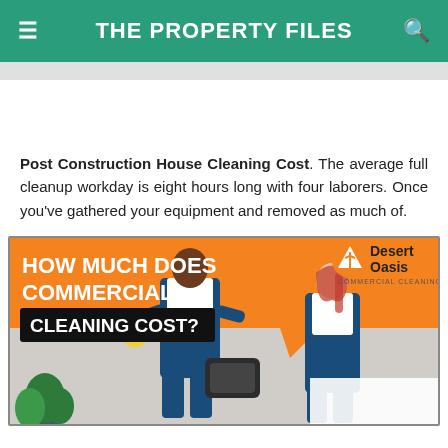THE PROPERTY FILES
Post Construction House Cleaning Cost. The average full cleanup workday is eight hours long with four laborers. Once you've gathered your equipment and removed as much of.
[Figure (photo): Promotional infographic for Desert Oasis Commercial Cleaning showing two cleaners in blue overalls with text 'HOW MUCH DOES COMMERCIAL CLEANING COST?' on an orange speech bubble background.]